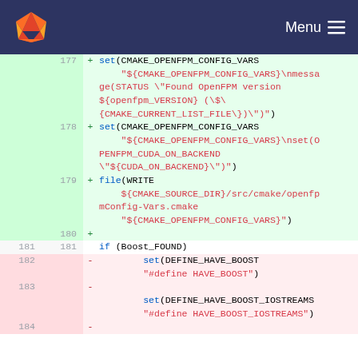Menu
[Figure (screenshot): GitLab code diff view showing CMake configuration lines 177-184. Lines 177-180 are additions (green) setting CMAKE_OPENFPM_CONFIG_VARS with message and file write commands. Line 181 is neutral showing 'if (Boost_FOUND)'. Lines 182-183 are removals (red) with set(DEFINE_HAVE_BOOST) and set(DEFINE_HAVE_BOOST_IOSTREAMS) commands. Line 184 is partially visible.]